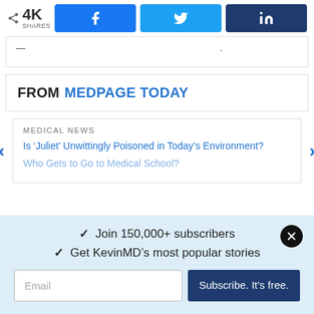4K SHARES | Facebook | Twitter | LinkedIn
— … …
FROM MEDPAGE TODAY
MEDICAL NEWS
Is 'Juliet' Unwittingly Poisoned in Today's Environment?
Who Gets to Go to Medical School?
✓ Join 150,000+ subscribers
✓ Get KevinMD's most popular stories
Email | Subscribe. It's free.